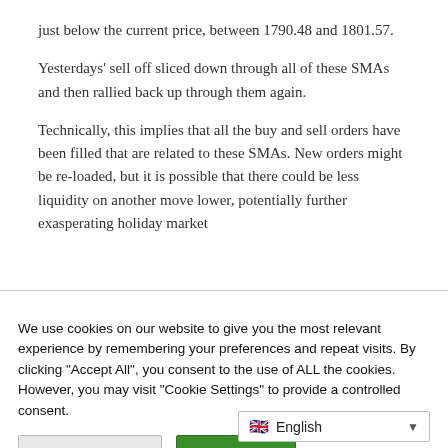just below the current price, between 1790.48 and 1801.57.
Yesterdays' sell off sliced down through all of these SMAs and then rallied back up through them again.
Technically, this implies that all the buy and sell orders have been filled that are related to these SMAs. New orders might be re-loaded, but it is possible that there could be less liquidity on another move lower, potentially further exasperating holiday market
We use cookies on our website to give you the most relevant experience by remembering your preferences and repeat visits. By clicking "Accept All", you consent to the use of ALL the cookies. However, you may visit "Cookie Settings" to provide a controlled consent.